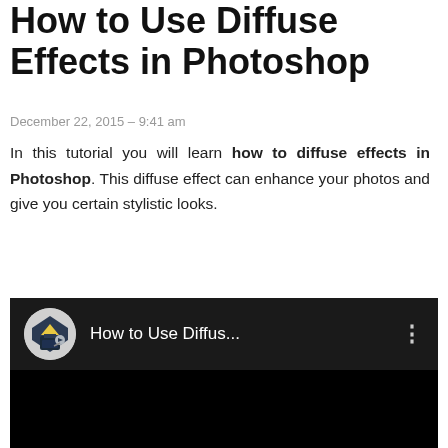How to Use Diffuse Effects in Photoshop
December 22, 2015 – 9:41 am
In this tutorial you will learn how to diffuse effects in Photoshop. This diffuse effect can enhance your photos and give you certain stylistic looks.
[Figure (screenshot): Embedded video player (YouTube-style) showing a dark/black video area with a channel icon (circular logo with house and landscape imagery) and the title 'How to Use Diffus...' with a three-dot menu icon in the top bar.]